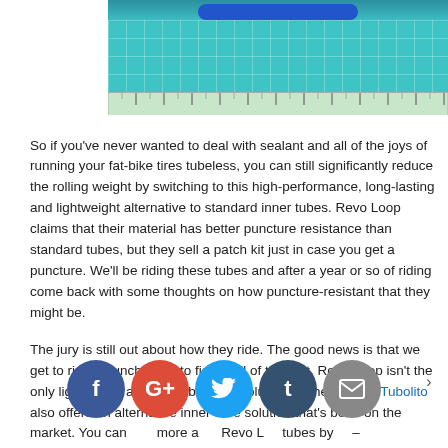[Figure (photo): Photo of a blue cylindrical tube (inner tube) placed on a green cutting mat with ruler markings, photographed from above]
So if you've never wanted to deal with sealant and all of the joys of running your fat-bike tires tubeless, you can still significantly reduce the rolling weight by switching to this high-performance, long-lasting and lightweight alternative to standard inner tubes. Revo Loop claims that their material has better puncture resistance than standard tubes, but they sell a patch kit just in case you get a puncture. We'll be riding these tubes and after a year or so of riding come back with some thoughts on how puncture-resistant that they might be.
The jury is still out about how they ride. The good news is that we get to ride a bunch more to figure all of that out. Revo Loop isn't the only lightweight and packable tube solution on the market. Tubolito also offers an alternative inner tube solution that's been on the market. You can more about Revo Loop tubes by visiting – revoloop.com